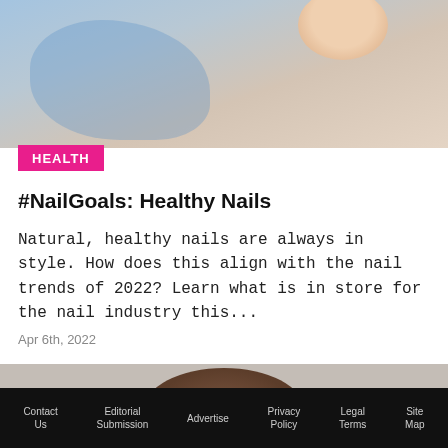[Figure (photo): Top portion of a photo showing hands with nails against a blue and beige background]
HEALTH
#NailGoals: Healthy Nails
Natural, healthy nails are always in style. How does this align with the nail trends of 2022? Learn what is in store for the nail industry this...
Apr 6th, 2022
[Figure (photo): Photo of a smiling Black woman holding up both hands near her face showing her nails, against a gray background]
Contact Us   Editorial Submission   Advertise   Privacy Policy   Legal Terms   Site Map